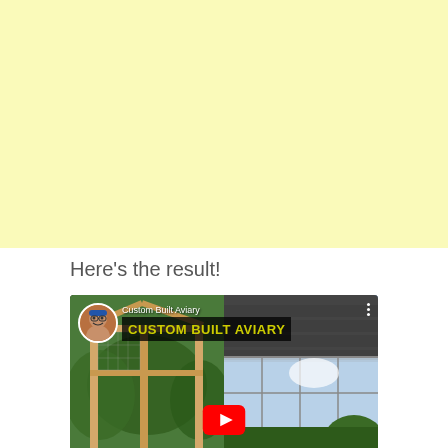[Figure (other): Light yellow/cream colored blank area filling the top portion of the page]
Here's the result!
[Figure (screenshot): YouTube video thumbnail showing a custom built aviary. Left side shows wooden frame structure with wire mesh against green trees background. Right side shows glass/polycarbonate roof structure. Channel icon shows man's face. Title reads 'Custom Built Aviary' with bold yellow text 'CUSTOM BUILT AVIARY' on dark banner. Red YouTube play button visible in center bottom.]